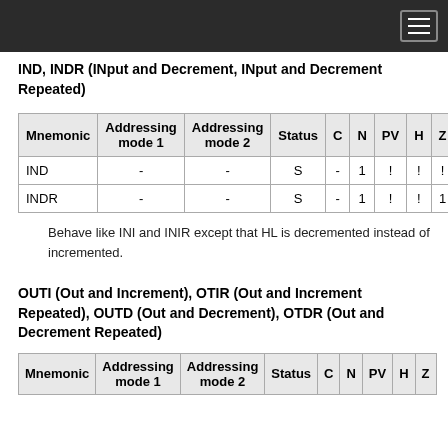IND, INDR (INput and Decrement, INput and Decrement Repeated)
| Mnemonic | Addressing mode 1 | Addressing mode 2 | Status | C | N | PV | H | Z |
| --- | --- | --- | --- | --- | --- | --- | --- | --- |
| IND | - | - | S | - | 1 | ! | ! | ! |
| INDR | - | - | S | - | 1 | ! | ! | 1 |
Behave like INI and INIR except that HL is decremented instead of incremented.
OUTI (Out and Increment), OTIR (Out and Increment Repeated), OUTD (Out and Decrement), OTDR (Out and Decrement Repeated)